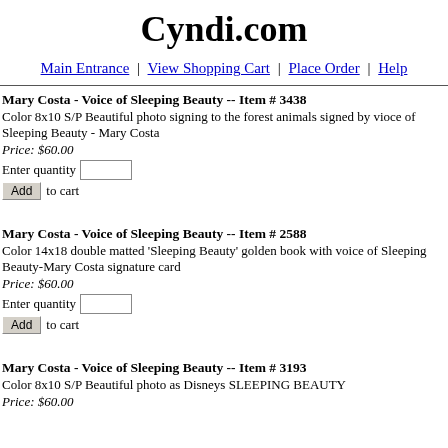Cyndi.com
Main Entrance | View Shopping Cart | Place Order | Help
Mary Costa - Voice of Sleeping Beauty -- Item # 3438
Color 8x10 S/P Beautiful photo signing to the forest animals signed by vioce of Sleeping Beauty - Mary Costa
Price: $60.00
Enter quantity
Add to cart
Mary Costa - Voice of Sleeping Beauty -- Item # 2588
Color 14x18 double matted 'Sleeping Beauty' golden book with voice of Sleeping Beauty-Mary Costa signature card
Price: $60.00
Enter quantity
Add to cart
Mary Costa - Voice of Sleeping Beauty -- Item # 3193
Color 8x10 S/P Beautiful photo as Disneys SLEEPING BEAUTY
Price: $60.00